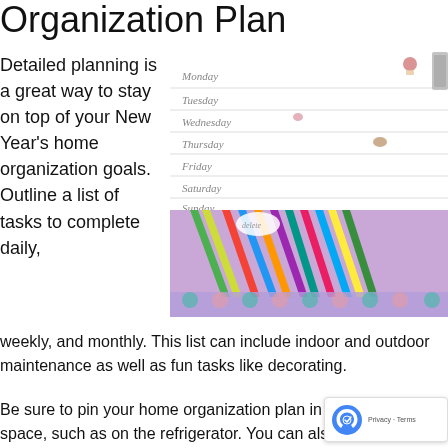Organization Plan
Detailed planning is a great way to stay on top of your New Year's home organization goals. Outline a list of tasks to complete daily,
[Figure (photo): A weekly planner open to a page showing days Monday through Sunday, with colorful pencils in a decorated holder in the foreground and small decorative stickers on the planner pages.]
weekly, and monthly. This list can include indoor and outdoor maintenance as well as fun tasks like decorating.
Be sure to pin your home organization plan in a conspicuous space, such as on the refrigerator. You can also lighten yo...